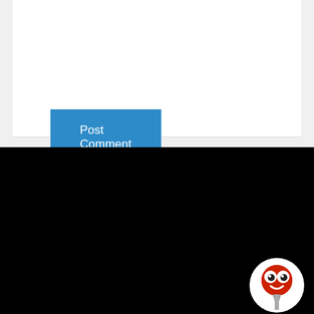Post Comment »
NAVIGATION
HOME
ABOUT US
OUR TEAM
NEWSLETTER
COLLABORATIONS
EVENTS
BLOG
SOCIAL MEDIA
[Figure (illustration): Red cartoon thumbtack mascot with googly eyes on a white circular background]